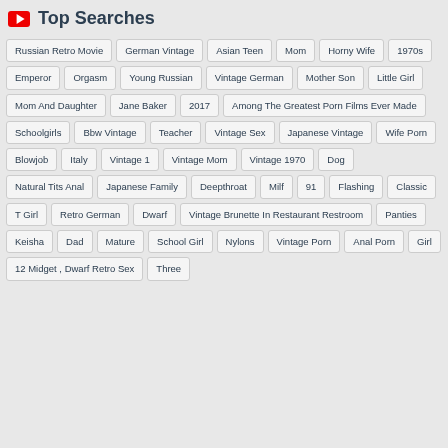Top Searches
Russian Retro Movie
German Vintage
Asian Teen
Mom
Horny Wife
1970s
Emperor
Orgasm
Young Russian
Vintage German
Mother Son
Little Girl
Mom And Daughter
Jane Baker
2017
Among The Greatest Porn Films Ever Made
Schoolgirls
Bbw Vintage
Teacher
Vintage Sex
Japanese Vintage
Wife Porn
Blowjob
Italy
Vintage 1
Vintage Mom
Vintage 1970
Dog
Natural Tits Anal
Japanese Family
Deepthroat
Milf
91
Flashing
Classic
T Girl
Retro German
Dwarf
Vintage Brunette In Restaurant Restroom
Panties
Keisha
Dad
Mature
School Girl
Nylons
Vintage Porn
Anal Porn
Girl
12 Midget , Dwarf Retro Sex
Three